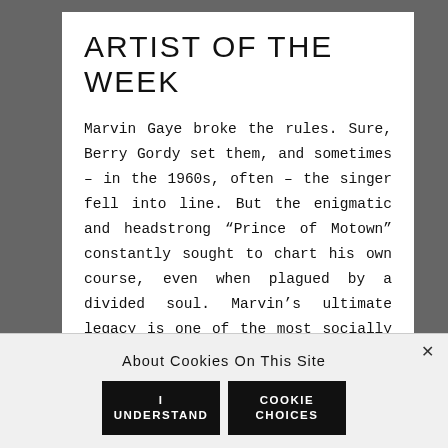ARTIST OF THE WEEK
Marvin Gaye broke the rules. Sure, Berry Gordy set them, and sometimes – in the 1960s, often – the singer fell into line. But the enigmatic and headstrong “Prince of Motown” constantly sought to chart his own course, even when plagued by a divided soul. Marvin’s ultimate legacy is one of the most socially conscious, celebrated and timeless works of 20th century popular art:
About Cookies On This Site
I UNDERSTAND
COOKIE CHOICES